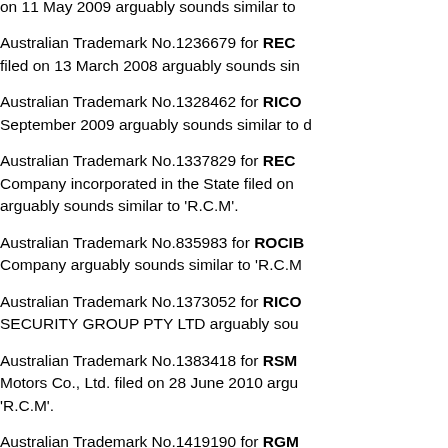on 11 May 2009 arguably sounds similar to
Australian Trademark No.1236679 for REC filed on 13 March 2008 arguably sounds similar to
Australian Trademark No.1328462 for RICO September 2009 arguably sounds similar to
Australian Trademark No.1337829 for REC Company incorporated in the State filed on arguably sounds similar to 'R.C.M'.
Australian Trademark No.835983 for ROCIB Company arguably sounds similar to 'R.C.M
Australian Trademark No.1373052 for RICO SECURITY GROUP PTY LTD arguably sounds similar to
Australian Trademark No.1383418 for RSM Motors Co., Ltd. filed on 28 June 2010 arguably sounds similar to 'R.C.M'.
Australian Trademark No.1419190 for RGM Pty Ltd ACN: 053082045 filed on 21 April 2 sounds similar to 'R.C.M'.
Australian Trademark No.1419191 for RGM